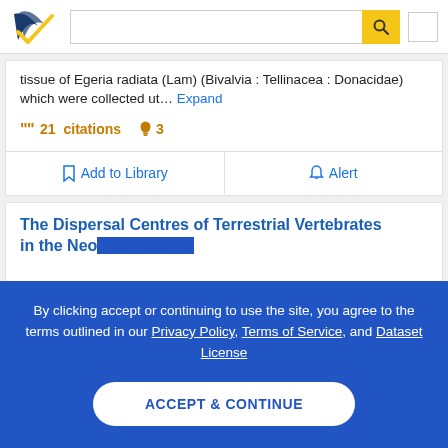Semantic Scholar search bar navigation
tissue of Egeria radiata (Lam) (Bivalvia : Tellinacea : Donacidae) which were collected ut… Expand
21 citations  3
Add to Library   Alert
The Dispersal Centres of Terrestrial Vertebrates in the Neotropical Realm
By clicking accept or continuing to use the site, you agree to the terms outlined in our Privacy Policy, Terms of Service, and Dataset License
ACCEPT & CONTINUE